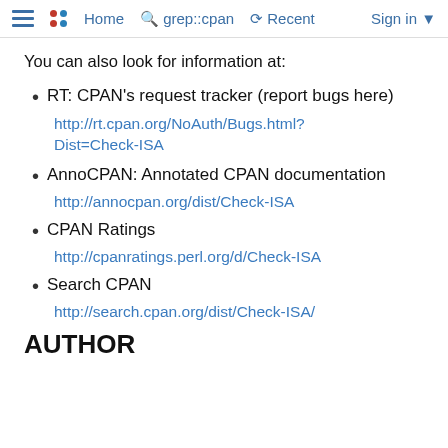Home  grep::cpan  Recent  Sign in
You can also look for information at:
RT: CPAN's request tracker (report bugs here)
http://rt.cpan.org/NoAuth/Bugs.html?Dist=Check-ISA
AnnoCPAN: Annotated CPAN documentation
http://annocpan.org/dist/Check-ISA
CPAN Ratings
http://cpanratings.perl.org/d/Check-ISA
Search CPAN
http://search.cpan.org/dist/Check-ISA/
AUTHOR